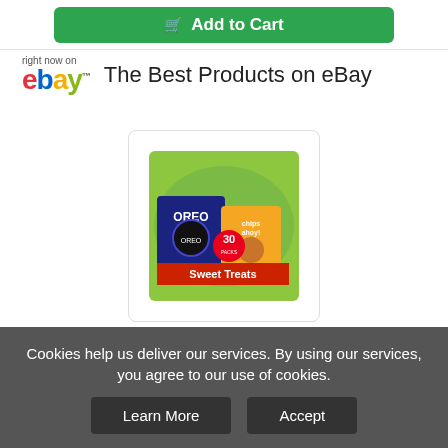[Figure (screenshot): Green Add to Cart button at the top of the page]
The Best Products on eBay
[Figure (photo): Nabisco Cookies Sweet Treats Variety pack product image — colorful green box with Oreo and other cookies, labeled Sweet Treats 30 pack]
Nabisco Cookies Sweet Treats Variety...
$24.12
| Buy Now | New |
| 16 Day(s) 9 h(s) | Worldwide |
Cookies help us deliver our services. By using our services, you agree to our use of cookies.